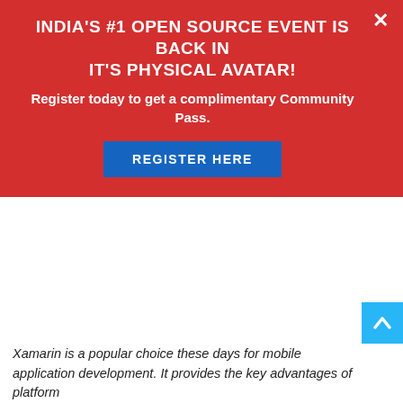INDIA'S #1 OPEN SOURCE EVENT IS BACK IN IT'S PHYSICAL AVATAR!
Register today to get a complimentary Community Pass.
[Figure (other): Blue 'REGISTER HERE' button on red banner background]
[Figure (other): Cyan/blue scroll-to-top arrow button in bottom right corner]
Xamarin is a popular choice these days for mobile application development. It provides the key advantages of platform